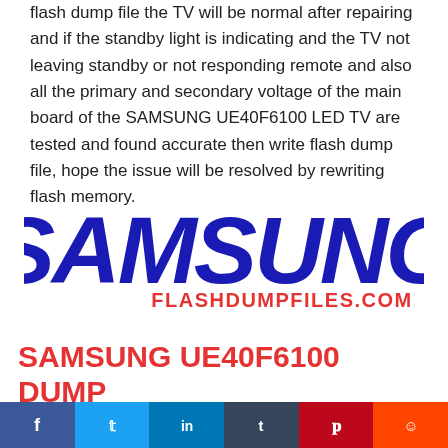flash dump file the TV will be normal after repairing and if the standby light is indicating and the TV not leaving standby or not responding remote and also all the primary and secondary voltage of the main board of the SAMSUNG UE40F6100 LED TV are tested and found accurate then write flash dump file, hope the issue will be resolved by rewriting flash memory.
[Figure (logo): SAMSUNG logo in bold dark blue italic text with FLASHDUMPFILES.COM in red below it]
SAMSUNG UE40F6100 DUMP
[Figure (infographic): Social media sharing bar with Facebook, Twitter, LinkedIn, Tumblr, Pinterest, and Reddit buttons]